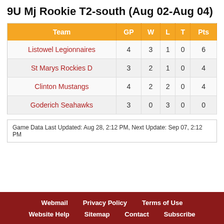9U Mj Rookie T2-south (Aug 02-Aug 04)
| Team | GP | W | L | T | Pts |
| --- | --- | --- | --- | --- | --- |
| Listowel Legionnaires | 4 | 3 | 1 | 0 | 6 |
| St Marys Rockies D | 3 | 2 | 1 | 0 | 4 |
| Clinton Mustangs | 4 | 2 | 2 | 0 | 4 |
| Goderich Seahawks | 3 | 0 | 3 | 0 | 0 |
Game Data Last Updated: Aug 28, 2:12 PM, Next Update: Sep 07, 2:12 PM
Webmail   Privacy Policy   Terms of Use   Website Help   Sitemap   Contact   Subscribe